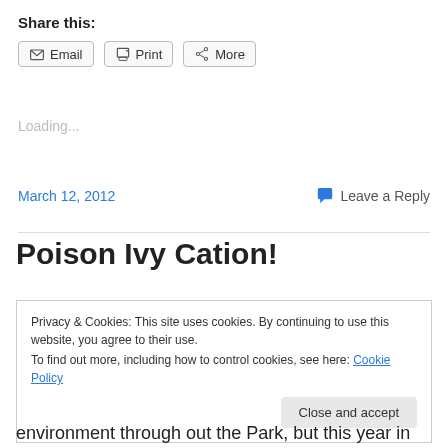Share this:
[Figure (other): Share buttons: Email, Print, More with icons]
Loading...
March 12, 2012
Leave a Reply
Poison Ivy Cation!
Privacy & Cookies: This site uses cookies. By continuing to use this website, you agree to their use.
To find out more, including how to control cookies, see here: Cookie Policy
Close and accept
environment through out the Park, but this year in